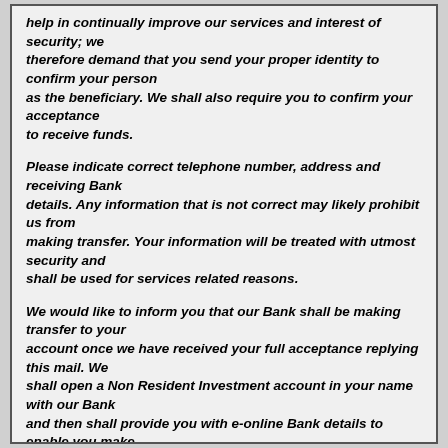help in continually improve our services and interest of security; we therefore demand that you send your proper identity to confirm your person as the beneficiary. We shall also require you to confirm your acceptance to receive funds.
Please indicate correct telephone number, address and receiving Bank details. Any information that is not correct may likely prohibit us from making transfer. Your information will be treated with utmost security and shall be used for services related reasons.
We would like to inform you that our Bank shall be making transfer to your account once we have received your full acceptance replying this mail. We shall open a Non Resident Investment account in your name with our Bank and then shall provide you with e-online Bank details to enable you make online transfer if you wish.
Further inquiries about HSBC Bank could be ascertain on Tel: +44 700 592 1528 ext 1